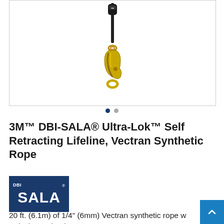[Figure (photo): Product photo of 3M DBI-SALA Ultra-Lok Self Retracting Lifeline showing a black rope/lanyard with a gold/brass swivel snap hook at the bottom, against a white background.]
[Figure (other): Two dark blue navigation dots indicating image carousel position]
3M™ DBI-SALA® Ultra-Lok™ Self Retracting Lifeline, Vectran Synthetic Rope
[Figure (logo): DBI-SALA logo: dark navy blue rectangle with 'DBI' in small white text top-left and 'SALA' in large bold white text]
20 ft. (6.1m) of 1/4" (6mm) Vectran synthetic rope w swivel snap hook